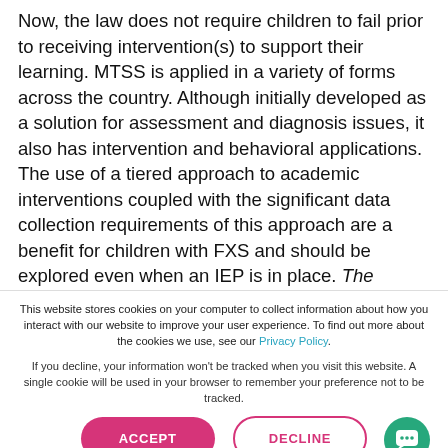Now, the law does not require children to fail prior to receiving intervention(s) to support their learning. MTSS is applied in a variety of forms across the country. Although initially developed as a solution for assessment and diagnosis issues, it also has intervention and behavioral applications. The use of a tiered approach to academic interventions coupled with the significant data collection requirements of this approach are a benefit for children with FXS and should be explored even when an IEP is in place. The graphic below illustrates the primary components of MTSS.
This website stores cookies on your computer to collect information about how you interact with our website to improve your user experience. To find out more about the cookies we use, see our Privacy Policy.
If you decline, your information won't be tracked when you visit this website. A single cookie will be used in your browser to remember your preference not to be tracked.